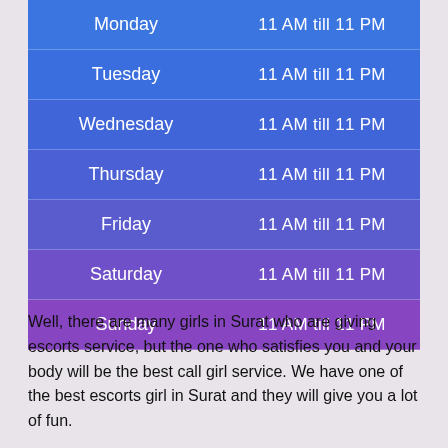| Day | Hours |
| --- | --- |
| Monday | 11 AM till 11 PM |
| Tuesday | 11 AM till 11 PM |
| Wednesday | 11 AM till 11 PM |
| Thursday | 11 AM till 11 PM |
| Friday | 11 AM till 11 PM |
| Saturday | 11 AM till 11 PM |
| Sunday | 11 AM till 11 PM |
Well, there are many girls in Surat who are giving escorts service, but the one who satisfies you and your body will be the best call girl service. We have one of the best escorts girl in Surat and they will give you a lot of fun.